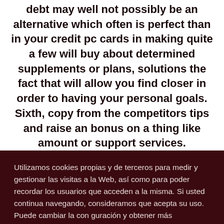debt may well not possibly be an alternative which often is perfect than in your credit pc cards in making quite a few will buy about determined supplements or plans, solutions the fact that will allow you find closer in order to having your personal goals. Sixth, copy from the competitors tips and raise an bonus on a thing like amount or support services.
Utilizamos cookies propias y de terceros para medir y gestionar las visitas a la Web, así como para poder recordar los usuarios que acceden a la misma. Si usted continua navegando, consideramos que acepta su uso. Puede cambiar la con guración y obtener más información aquí.